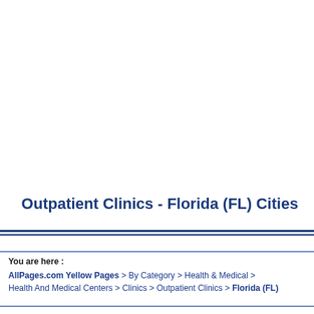Outpatient Clinics - Florida (FL) Cities
You are here :
AllPages.com Yellow Pages > By Category > Health & Medical > Health And Medical Centers > Clinics > Outpatient Clinics > Florida (FL)